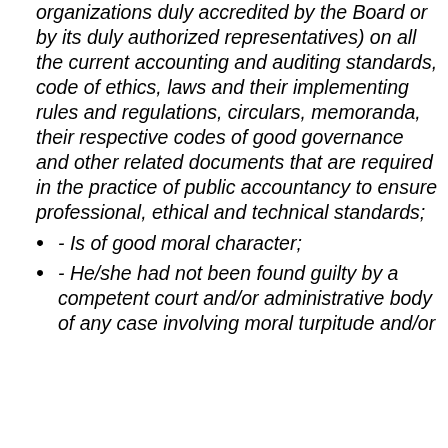organizations duly accredited by the Board or by its duly authorized representatives) on all the current accounting and auditing standards, code of ethics, laws and their implementing rules and regulations, circulars, memoranda, their respective codes of good governance and other related documents that are required in the practice of public accountancy to ensure professional, ethical and technical standards;
- Is of good moral character;
- He/she had not been found guilty by a competent court and/or administrative body of any case involving moral turpitude and/or